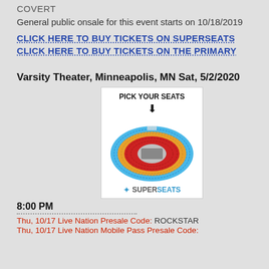COVERT
General public onsale for this event starts on 10/18/2019
CLICK HERE TO BUY TICKETS ON SUPERSEATS
CLICK HERE TO BUY TICKETS ON THE PRIMARY
Varsity Theater, Minneapolis, MN Sat, 5/2/2020
[Figure (illustration): Venue seating map with 'PICK YOUR SEATS' label and arrow, showing an oval arena diagram with colored sections (blue outer, orange middle, red inner), and SuperSeats branding below]
8:00 PM
Thu, 10/17 Live Nation Presale Code: ROCKSTAR
Thu, 10/17 Live Nation Mobile Pass Presale Code: